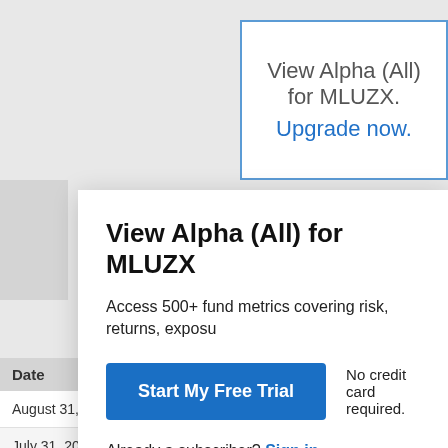[Figure (screenshot): Background showing locked/blurred finance data panel with blue border. Text reads 'View Alpha (All) for MLUZX.' and 'Upgrade now.' in blue.]
View Alpha (All) for MLUZX
Access 500+ fund metrics covering risk, returns, exposu...
Start My Free Trial
No credit card required.
Already a subscriber? Sign in.
| Date | Value | Date |
| --- | --- | --- |
| August 31, 2022 | -- | July 31, 2020 |
| July 31, 2022 | -- | June 30, 2020 |